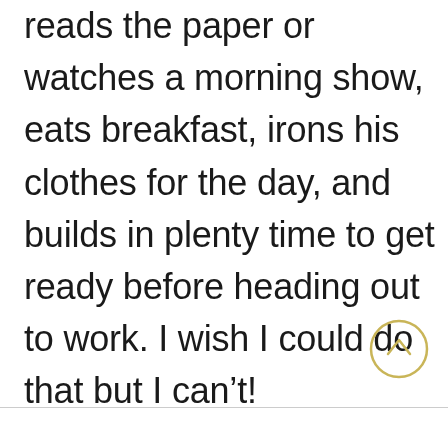reads the paper or watches a morning show, eats breakfast, irons his clothes for the day, and builds in plenty time to get ready before heading out to work. I wish I could do that but I can't!
[Figure (other): A circular scroll-to-top button with a golden/yellow outline and an upward-pointing chevron arrow inside]